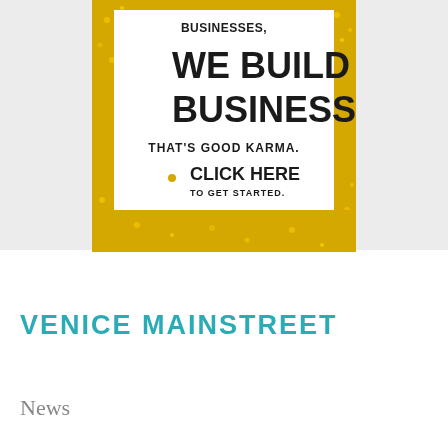[Figure (illustration): Advertisement banner with gold glitter border on white background. Text reads: 'WE BUILD BUSINESSES. THAT'S GOOD KARMA. CLICK HERE TO GET STARTED.' in bold black lettering.]
VENICE MAINSTREET
News